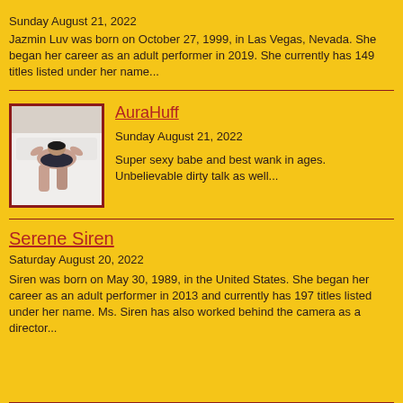Sunday August 21, 2022
Jazmin Luv was born on October 27, 1999, in Las Vegas, Nevada. She began her career as an adult performer in 2019. She currently has 149 titles listed under her name...
AuraHuff
Sunday August 21, 2022
[Figure (photo): Person lying on a bed viewed from above]
Super sexy babe and best wank in ages. Unbelievable dirty talk as well...
Serene Siren
Saturday August 20, 2022
Siren was born on May 30, 1989, in the United States. She began her career as an adult performer in 2013 and currently has 197 titles listed under her name. Ms. Siren has also worked behind the camera as a director...